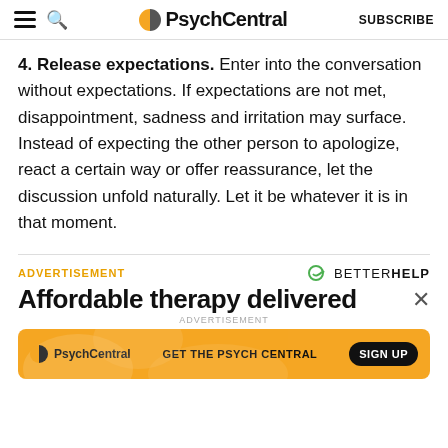PsychCentral | SUBSCRIBE
4. Release expectations. Enter into the conversation without expectations. If expectations are not met, disappointment, sadness and irritation may surface. Instead of expecting the other person to apologize, react a certain way or offer reassurance, let the discussion unfold naturally. Let it be whatever it is in that moment.
ADVERTISEMENT
[Figure (logo): BetterHelp logo with stylized arrow/smiley icon and text 'betterhelp']
Affordable therapy delivered
[Figure (screenshot): PsychCentral inner advertisement banner with orange background, PsychCentral logo, text 'GET THE PSYCH CENTRAL', and a 'SIGN UP' black button]